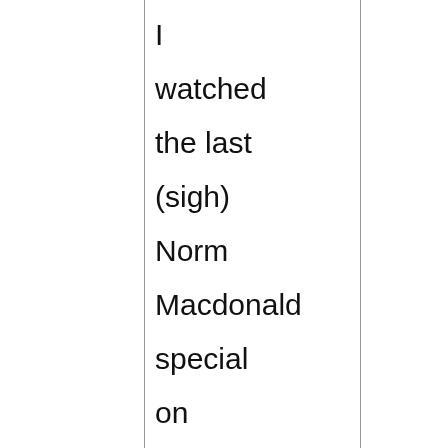I watched the last (sigh) Norm Macdonald special on Netflix the other night, and he had a small bit about scapegoats. "You know who should